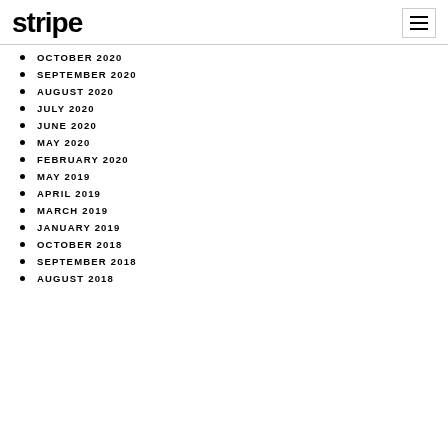stripe
OCTOBER 2020
SEPTEMBER 2020
AUGUST 2020
JULY 2020
JUNE 2020
MAY 2020
FEBRUARY 2020
MAY 2019
APRIL 2019
MARCH 2019
JANUARY 2019
OCTOBER 2018
SEPTEMBER 2018
AUGUST 2018